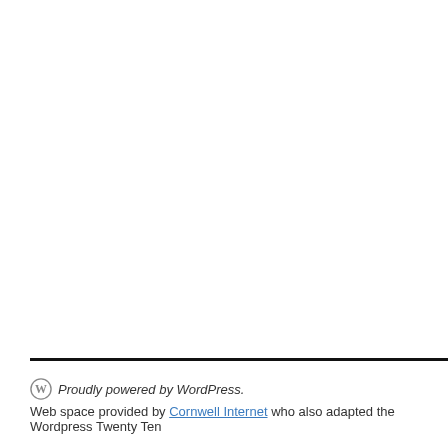Proudly powered by WordPress. Web space provided by Cornwell Internet who also adapted the Wordpress Twenty Ten